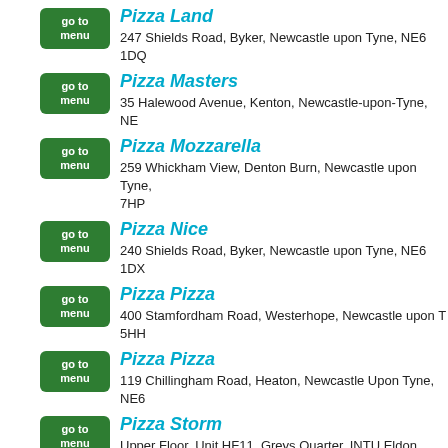Pizza Land
247 Shields Road, Byker, Newcastle upon Tyne, NE6 1DQ
Pizza Masters
35 Halewood Avenue, Kenton, Newcastle-upon-Tyne, NE
Pizza Mozzarella
259 Whickham View, Denton Burn, Newcastle upon Tyne, 7HP
Pizza Nice
240 Shields Road, Byker, Newcastle upon Tyne, NE6 1DX
Pizza Pizza
400 Stamfordham Road, Westerhope, Newcastle upon T, 5HH
Pizza Pizza
119 Chillingham Road, Heaton, Newcastle Upon Tyne, NE6
Pizza Storm
Upper Floor, Unit HF11, Greys Quarter, INTU Eldon Square, Newcastle upon Tyne, NE1 7JB
Pizza Tower
74 Broadmead Way, Scotswood, Newcastle Upon Tyne, N
Pizzaholic
288 Chillingham Road, Heaton, Newcastle Upon Tyne, NE